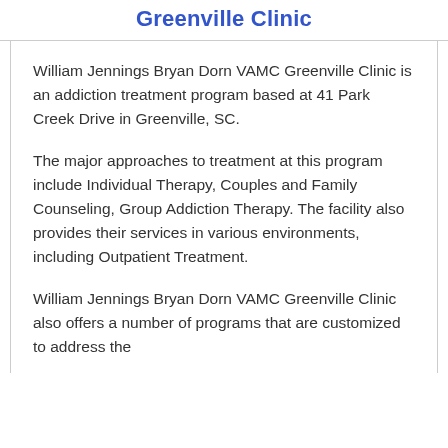Greenville Clinic
William Jennings Bryan Dorn VAMC Greenville Clinic is an addiction treatment program based at 41 Park Creek Drive in Greenville, SC.
The major approaches to treatment at this program include Individual Therapy, Couples and Family Counseling, Group Addiction Therapy. The facility also provides their services in various environments, including Outpatient Treatment.
William Jennings Bryan Dorn VAMC Greenville Clinic also offers a number of programs that are customized to address the